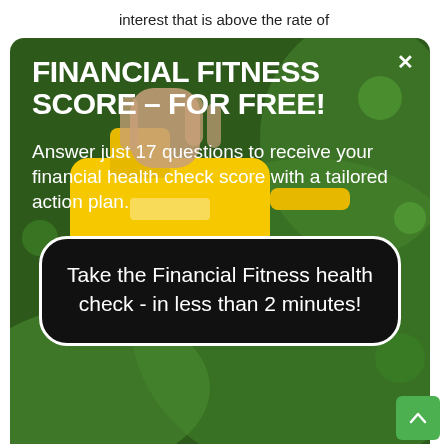interest that is above the rate of
[Figure (screenshot): Modal popup overlay with a background photo of yellow watering can held over green grass. Contains a close button (×), headline text, body text, and a black rounded CTA button.]
FINANCIAL FITNESS SCORE – FOR FREE!
Answer just 17 questions to receive your financial health check score with a tailored action plan.
Take the Financial Fitness health check - in less than 2 minutes!